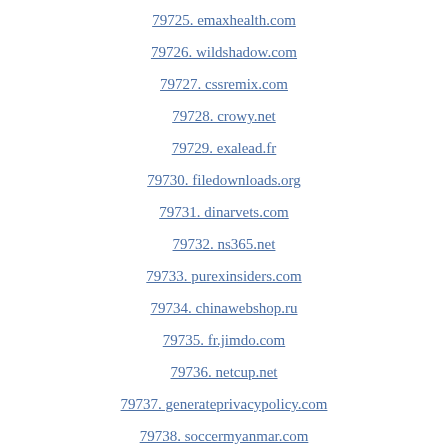79725. emaxhealth.com
79726. wildshadow.com
79727. cssremix.com
79728. crowy.net
79729. exalead.fr
79730. filedownloads.org
79731. dinarvets.com
79732. ns365.net
79733. purexinsiders.com
79734. chinawebshop.ru
79735. fr.jimdo.com
79736. netcup.net
79737. generateprivacypolicy.com
79738. soccermyanmar.com